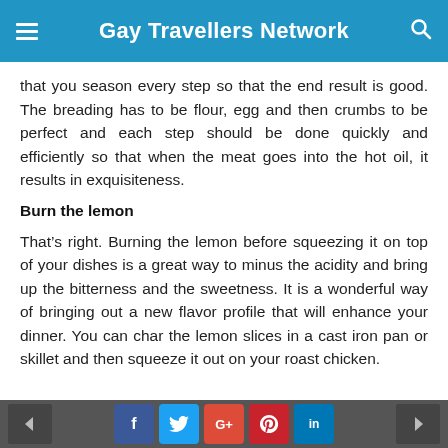Gay Travellers Network
that you season every step so that the end result is good. The breading has to be flour, egg and then crumbs to be perfect and each step should be done quickly and efficiently so that when the meat goes into the hot oil, it results in exquisiteness.
Burn the lemon
That’s right. Burning the lemon before squeezing it on top of your dishes is a great way to minus the acidity and bring up the bitterness and the sweetness. It is a wonderful way of bringing out a new flavor profile that will enhance your dinner. You can char the lemon slices in a cast iron pan or skillet and then squeeze it out on your roast chicken.
Social share buttons: Facebook, Twitter, Google+, Pinterest, LinkedIn